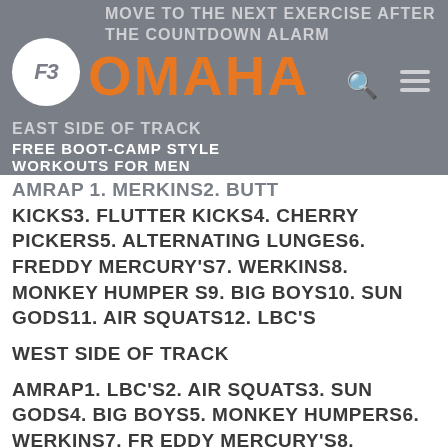MOVE TO THE NEXT EXERCISE AFTER THE COUNTDOWN ALARM
[Figure (logo): F3 circular logo in white on grey background]
OMAHA
EAST SIDE OF TRACK
FREE BOOT-CAMP STYLE WORKOUTS FOR MEN
AMRAP 1. MERKINS2. BUTT KICKS3. FLUTTER KICKS4. CHERRY PICKERS5. ALTERNATING LUNGES6. FREDDY MERCURY'S7. WERKINS8. MONKEY HUMPERS9. BIG BOYS10. SUN GODS11. AIR SQUATS12. LBC'S
WEST SIDE OF TRACK
AMRAP1. LBC'S2. AIR SQUATS3. SUN GODS4. BIG BOYS5. MONKEY HUMPERS6. WERKINS7. FREDDY MERCURY'S8. ALTERNATING